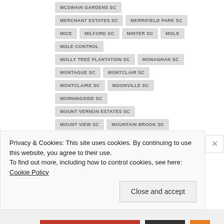MCSWAIN GARDENS SC
MERCHANT ESTATES SC
MERRIFIELD PARK SC
MICE
MILFORD SC
MINTER SC
MOLE
MOLE CONTROL
MOLLY TREE PLANTATION SC
MONAGHAN SC
MONTAGUE SC
MONTCLAIR SC
MONTCLAIRE SC
MOONVILLE SC
MORNINGSIDE SC
MOUNT VERNON ESTATES SC
MOUNT VIEW SC
MOUNTAIN BROOK SC
MOUNTAIN LAKE COLONY SC
Privacy & Cookies: This site uses cookies. By continuing to use this website, you agree to their use.
To find out more, including how to control cookies, see here: Cookie Policy
Close and accept